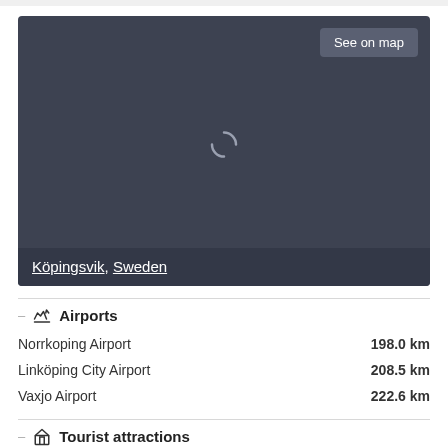[Figure (map): Loading map showing Köpingsvik, Sweden with a spinner icon and a 'See on map' button in the top right corner.]
Airports
Norrkoping Airport  198.0 km
Linköping City Airport  208.5 km
Vaxjo Airport  222.6 km
Tourist attractions
Borgholm Castle  9.2 km